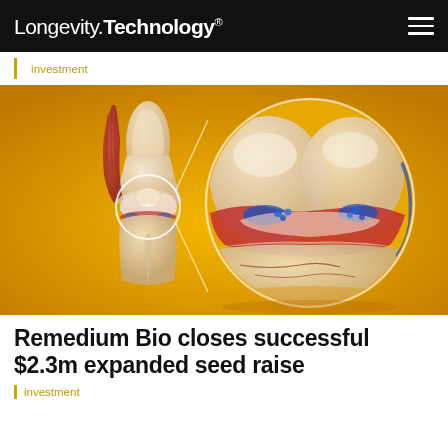Longevity.Technology®
investment
[Figure (illustration): Medical illustration showing a knee joint anatomy on a golden/yellow background. Left side shows a full knee cross-section view with bones, muscles, tendons and cartilage. Right side shows a large magnified circular detail view of the knee joint interior revealing cartilage (white/ivory), synovial fluid (blue), and inflamed tissue (red), connected by lines indicating the zoomed area.]
Remedium Bio closes successful $2.3m expanded seed raise
investment